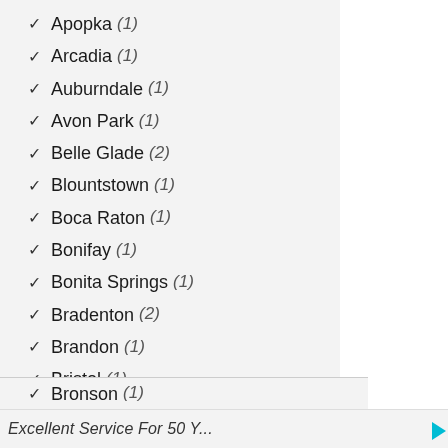✓ Apopka (1)
✓ Arcadia (1)
✓ Auburndale (1)
✓ Avon Park (1)
✓ Belle Glade (2)
✓ Blountstown (1)
✓ Boca Raton (1)
✓ Bonifay (1)
✓ Bonita Springs (1)
✓ Bradenton (2)
✓ Brandon (1)
✓ Bristol (1)
✓ Bronson (1)